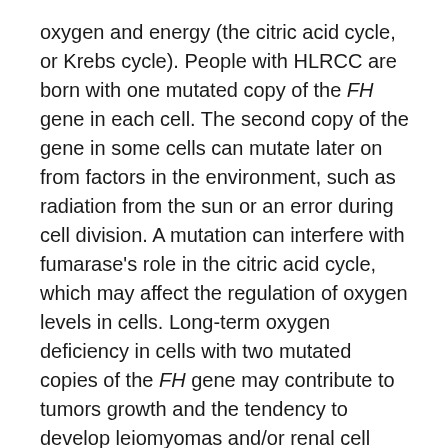oxygen and energy (the citric acid cycle, or Krebs cycle). People with HLRCC are born with one mutated copy of the FH gene in each cell. The second copy of the gene in some cells can mutate later on from factors in the environment, such as radiation from the sun or an error during cell division. A mutation can interfere with fumarase's role in the citric acid cycle, which may affect the regulation of oxygen levels in cells. Long-term oxygen deficiency in cells with two mutated copies of the FH gene may contribute to tumors growth and the tendency to develop leiomyomas and/or renal cell cancer.[2]
Diagnosis
Making a diagnosis for a genetic or rare disease can often be challenging. Healthcare professionals typically look at a person's medical